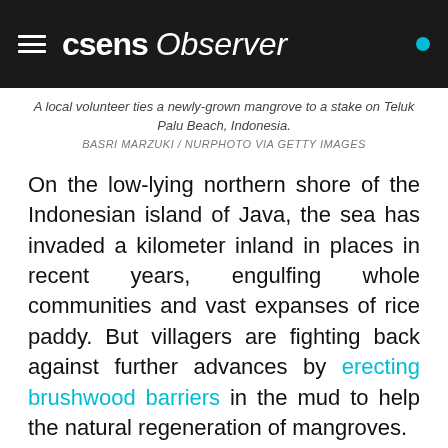csens Observer
A local volunteer ties a newly-grown mangrove to a stake on Teluk Palu Beach, Indonesia. BASRI MARZUKI / NURPHOTO VIA GETTY IMAGES
On the low-lying northern shore of the Indonesian island of Java, the sea has invaded a kilometer inland in places in recent years, engulfing whole communities and vast expanses of rice paddy. But villagers are fighting back against further advances by erecting brushwood barriers in the mud to help the natural regeneration of mangroves.
This innovative nature-based response to rising sea levels and worsening storms, sponsored by the